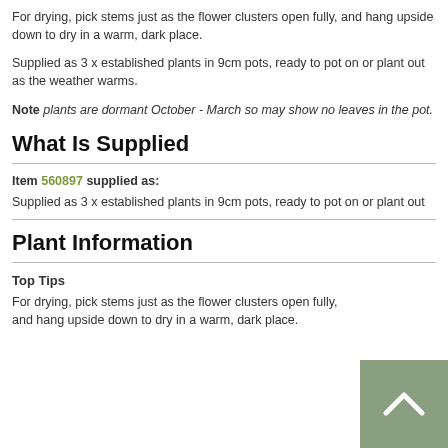For drying, pick stems just as the flower clusters open fully, and hang upside down to dry in a warm, dark place.
Supplied as 3 x established plants in 9cm pots, ready to pot on or plant out as the weather warms.
Note plants are dormant October - March so may show no leaves in the pot.
What Is Supplied
Item 560897 supplied as:
Supplied as 3 x established plants in 9cm pots, ready to pot on or plant out
Plant Information
Top Tips
For drying, pick stems just as the flower clusters open fully, and hang upside down to dry in a warm, dark place.